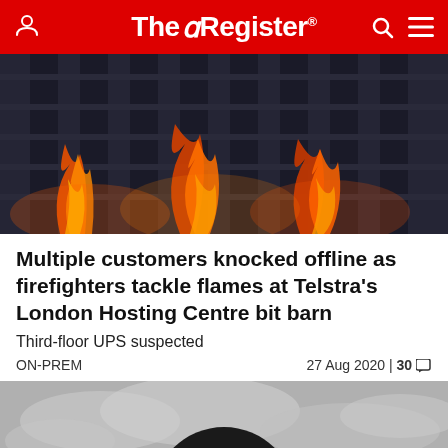The Register
[Figure (photo): Fire and flames burning through metal server rack or grid structure in a data centre]
Multiple customers knocked offline as firefighters tackle flames at Telstra's London Hosting Centre bit barn
Third-floor UPS suspected
ON-PREM   27 Aug 2020 | 30
[Figure (photo): Black and white photograph of a circular metal ring or satellite dish structure against a cloudy sky]